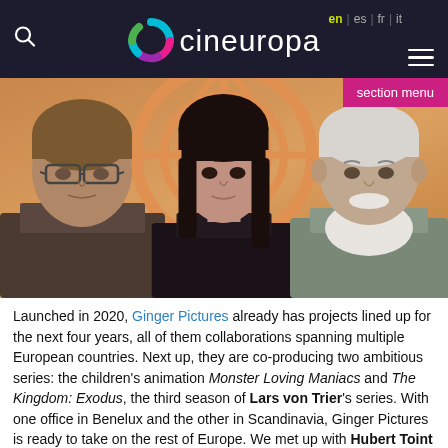cineuropa | en | es | fr | it
[Figure (photo): Three people posing together against an orange background with a circular logo/graphic. Left: man with glasses and brown hair. Center: young woman with dark hair and bangs. Right: older man with white hair and beard.]
Launched in 2020, Ginger Pictures already has projects lined up for the next four years, all of them collaborations spanning multiple European countries. Next up, they are co-producing two ambitious series: the children's animation Monster Loving Maniacs and The Kingdom: Exodus, the third season of Lars von Trier's series. With one office in Benelux and the other in Scandinavia, Ginger Pictures is ready to take on the rest of Europe. We met up with Hubert Toint and Mark Donosson, two of the associates behind the